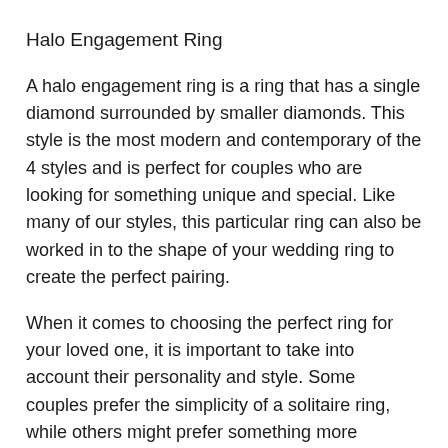Halo Engagement Ring
A halo engagement ring is a ring that has a single diamond surrounded by smaller diamonds. This style is the most modern and contemporary of the 4 styles and is perfect for couples who are looking for something unique and special. Like many of our styles, this particular ring can also be worked in to the shape of your wedding ring to create the perfect pairing.
When it comes to choosing the perfect ring for your loved one, it is important to take into account their personality and style. Some couples prefer the simplicity of a solitaire ring, while others might prefer something more elaborate, like a halo ring. Ultimately, it is up to you to choose the ring that you think represents your relationship best.
If you're not sure which style of ring is right for your fiancee, contact us on 01267 222500 or via our contact us page and